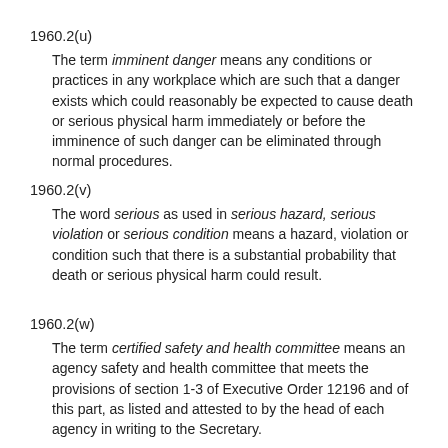1960.2(u)
The term imminent danger means any conditions or practices in any workplace which are such that a danger exists which could reasonably be expected to cause death or serious physical harm immediately or before the imminence of such danger can be eliminated through normal procedures.
1960.2(v)
The word serious as used in serious hazard, serious violation or serious condition means a hazard, violation or condition such that there is a substantial probability that death or serious physical harm could result.
1960.2(w)
The term certified safety and health committee means an agency safety and health committee that meets the provisions of section 1-3 of Executive Order 12196 and of this part, as listed and attested to by the head of each agency in writing to the Secretary.